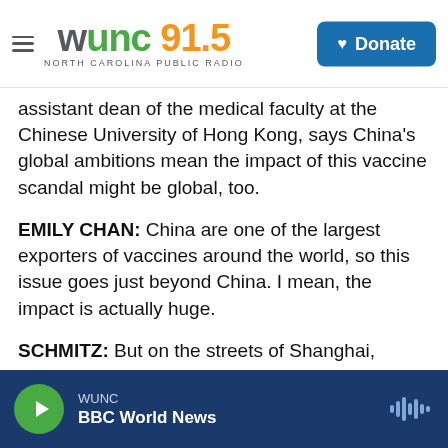WUNC 91.5 North Carolina Public Radio | Donate
assistant dean of the medical faculty at the Chinese University of Hong Kong, says China's global ambitions mean the impact of this vaccine scandal might be global, too.
EMILY CHAN: China are one of the largest exporters of vaccines around the world, so this issue goes just beyond China. I mean, the impact is actually huge.
SCHMITZ: But on the streets of Shanghai, people are concerned about their own children - people like Mrs. Wei, who's visiting with her 7-year-old daughter from Shandong, one of the hardest hit
WUNC | BBC World News